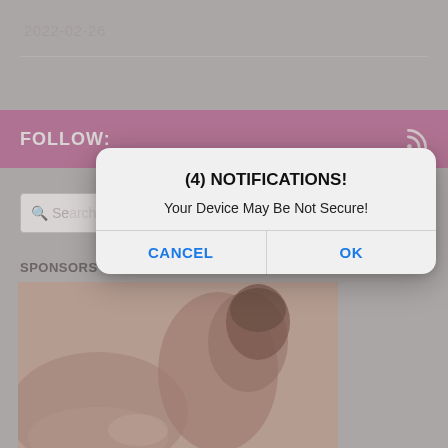2022-02-26
[Figure (screenshot): Background of a website with pink follow bar, search bar, sponsors section, and a photo below.]
[Figure (screenshot): A browser-style alert dialog box with title '(4) NOTIFICATIONS!', message 'Your Device May Be Not Secure!', and two buttons: CANCEL and OK.]
FOLLOW:
SPONSORS
(4) NOTIFICATIONS!
Your Device May Be Not Secure!
CANCEL
OK